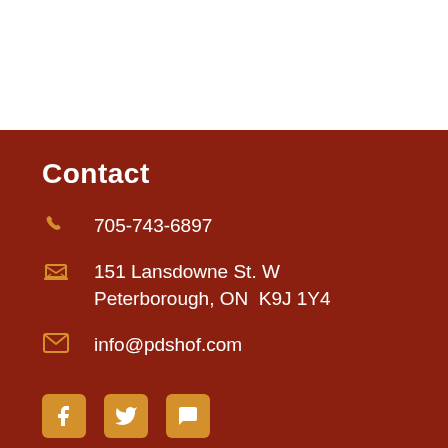Contact
705-743-6897
151 Lansdowne St. W
Peterborough, ON  K9J 1Y4
info@pdshof.com